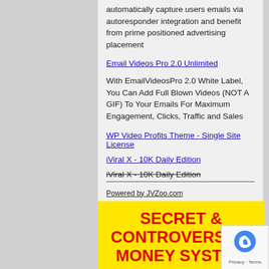automatically capture users emails via autoresponder integration and benefit from prime positioned advertising placement
Email Videos Pro 2.0 Unlimited
With EmailVideosPro 2.0 White Label, You Can Add Full Blown Videos (NOT A GIF) To Your Emails For Maximum Engagement, Clicks, Traffic and Sales
WP Video Profits Theme - Single Site License
iViral X - 10K Daily Edition
iViral X - 10K Daily Edition
Powered by JVZoo.com
SECRET & CONTROVERSIAL MONEY SYSTEM